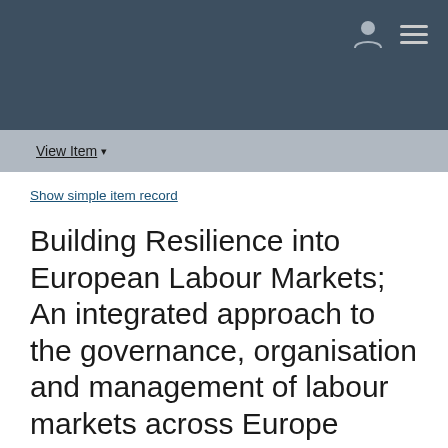View Item
Show simple item record
Building Resilience into European Labour Markets; An integrated approach to the governance, organisation and management of labour markets across Europe